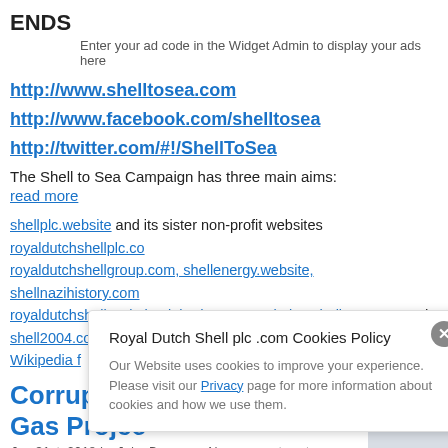ENDS
Enter your ad code in the Widget Admin to display your ads here
http://www.shelltosea.com
http://www.facebook.com/shelltosea
http://twitter.com/#!/ShellToSea
The Shell to Sea Campaign has three main aims:
read more
shellplc.website and its sister non-profit websites royaldutchshellplc.com royaldutchshellgroup.com, shellenergy.website, shellnazihistory.com royaldutchshell.website, johndonovan.website, shellnews.net and shell2004.com are owned by John Donovan. There is also a Wikipedia f
Corrupt Irish Police and the Corrib Gas Projec
Jan 31st, 2018 by John Donovan. No comments yet
Ne Sh 20. rel
Royal Dutch Shell plc .com Cookies Policy
Our Website uses cookies to improve your experience. Please visit our Privacy page for more information about cookies and how we use them.